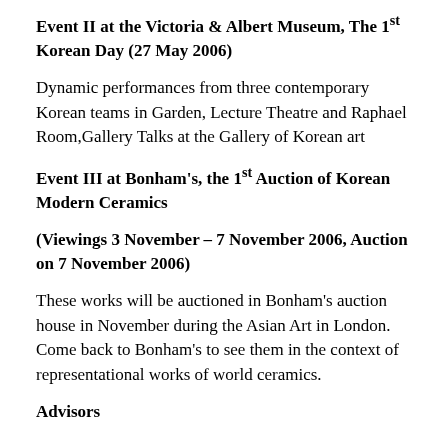Event II at the Victoria & Albert Museum, The 1st Korean Day (27 May 2006)
Dynamic performances from three contemporary Korean teams in Garden, Lecture Theatre and Raphael Room,Gallery Talks at the Gallery of Korean art
Event III at Bonham's, the 1st Auction of Korean Modern Ceramics
(Viewings 3 November – 7 November 2006, Auction on 7 November 2006)
These works will be auctioned in Bonham's auction house in November during the Asian Art in London. Come back to Bonham's to see them in the context of representational works of world ceramics.
Advisors